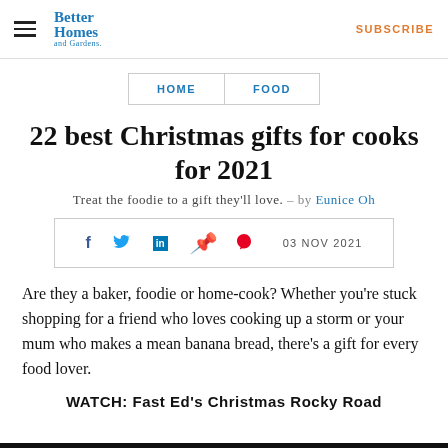Better Homes and Gardens | SUBSCRIBE
HOME | FOOD
22 best Christmas gifts for cooks for 2021
Treat the foodie to a gift they'll love. – by Eunice Oh
f  [twitter]  in  [pinterest]  03 NOV 2021
Are they a baker, foodie or home-cook? Whether you're stuck shopping for a friend who loves cooking up a storm or your mum who makes a mean banana bread, there's a gift for every food lover.
WATCH: Fast Ed's Christmas Rocky Road